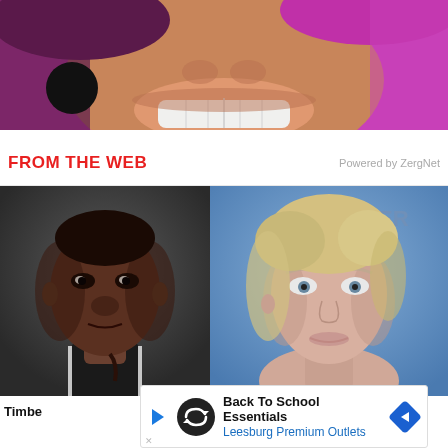[Figure (photo): Close-up photo of a person smiling, showing teeth, against a pink/magenta background. A black circular dot/bubble is visible on the left side.]
FROM THE WEB
Powered by ZergNet
[Figure (photo): Headshot of a young Black man with a serious expression, wearing a black and white jersey, against a dark gray background.]
[Figure (photo): Headshot of a blonde woman against a blue background, looking at the camera with a neutral expression.]
Timbe
[Figure (other): Advertisement banner: Back To School Essentials, Leesburg Premium Outlets. Shows a black circle logo with infinity symbol, play button arrow on left, and a blue diamond navigation arrow on right.]